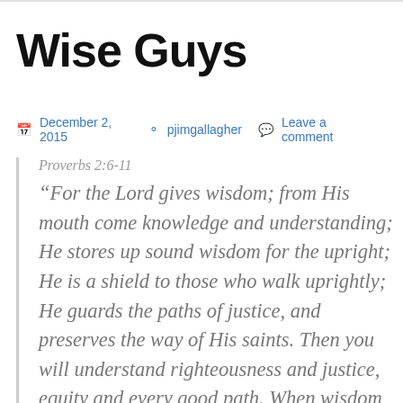Wise Guys
December 2, 2015  pjimgallagher  Leave a comment
Proverbs 2:6-11
“For the Lord gives wisdom; from His mouth come knowledge and understanding; He stores up sound wisdom for the upright; He is a shield to those who walk uprightly; He guards the paths of justice, and preserves the way of His saints. Then you will understand righteousness and justice, equity and every good path. When wisdom enters your heart,